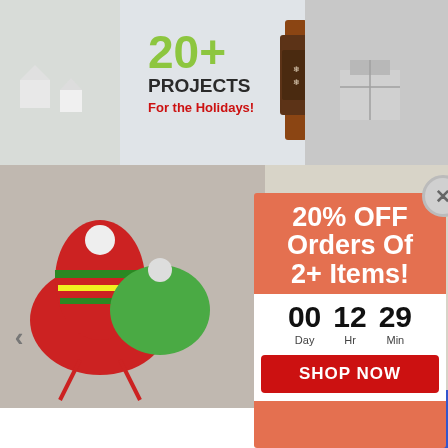[Figure (photo): Collage of holiday craft projects: houses in snow, decorative bottle sweater, gift wrap top row; Christmas hats and mittens, felt Christmas trees, knit boots/socks with reindeer, stuffed Santa Claus bottom row. Text overlay reads '20+ PROJECTS For the Holidays!']
[Figure (infographic): Promotional popup overlay with orange/terracotta background showing '20% OFF Orders Of 2+ Items!' with a countdown timer showing 00 Days, 12 Hours, 29 Minutes, and a red 'SHOP NOW' button. Has an X close button.]
Technique: Kn
Skill Level: Ea
[Figure (other): NEW badge in teal/turquoise color with dashed border]
[Figure (other): Star rating (5 empty stars)]
[Figure (other): Blue sidebar navigation element on right edge]